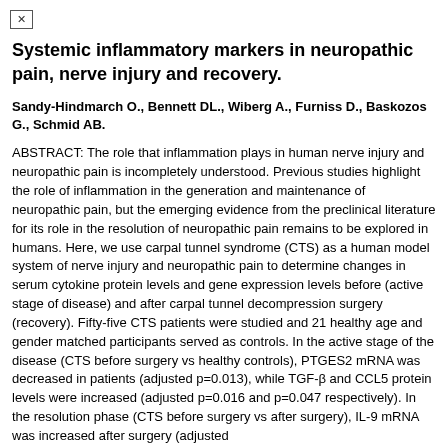Systemic inflammatory markers in neuropathic pain, nerve injury and recovery.
Sandy-Hindmarch O., Bennett DL., Wiberg A., Furniss D., Baskozos G., Schmid AB.
ABSTRACT: The role that inflammation plays in human nerve injury and neuropathic pain is incompletely understood. Previous studies highlight the role of inflammation in the generation and maintenance of neuropathic pain, but the emerging evidence from the preclinical literature for its role in the resolution of neuropathic pain remains to be explored in humans. Here, we use carpal tunnel syndrome (CTS) as a human model system of nerve injury and neuropathic pain to determine changes in serum cytokine protein levels and gene expression levels before (active stage of disease) and after carpal tunnel decompression surgery (recovery). Fifty-five CTS patients were studied and 21 healthy age and gender matched participants served as controls. In the active stage of the disease (CTS before surgery vs healthy controls), PTGES2 mRNA was decreased in patients (adjusted p=0.013), while TGF-β and CCL5 protein levels were increased (adjusted p=0.016 and p=0.047 respectively). In the resolution phase (CTS before surgery vs after surgery), IL-9 mRNA was increased after surgery (adjusted